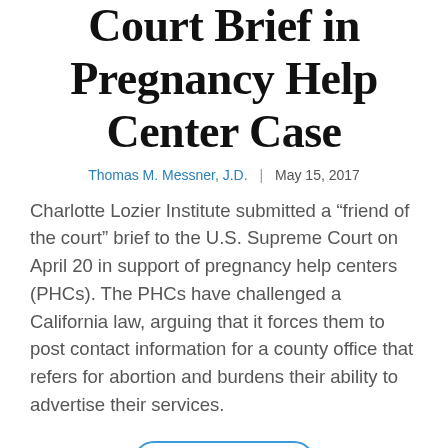Court Brief in Pregnancy Help Center Case
Thomas M. Messner, J.D.  |  May 15, 2017
Charlotte Lozier Institute submitted a “friend of the court” brief to the U.S. Supreme Court on April 20 in support of pregnancy help centers (PHCs). The PHCs have challenged a California law, arguing that it forces them to post contact information for a county office that refers for abortion and burdens their ability to advertise their services.
View More